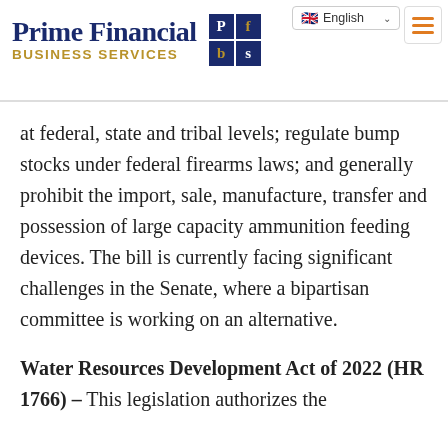[Figure (logo): Prime Financial Business Services logo with navy and gold text and 2x2 grid of dark blue squares with letters P, f, b, s]
at federal, state and tribal levels; regulate bump stocks under federal firearms laws; and generally prohibit the import, sale, manufacture, transfer and possession of large capacity ammunition feeding devices. The bill is currently facing significant challenges in the Senate, where a bipartisan committee is working on an alternative.
Water Resources Development Act of 2022 (HR 1766) – This legislation authorizes the